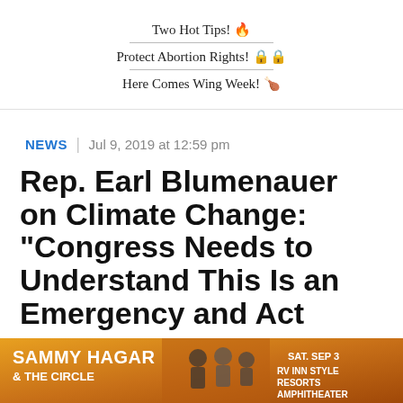Two Hot Tips! 🔥
Protect Abortion Rights! 🔒🔒
Here Comes Wing Week! 🍗
NEWS | Jul 9, 2019 at 12:59 pm
Rep. Earl Blumenauer on Climate Change: "Congress Needs to Understand This Is an Emergency and Act
[Figure (photo): Advertisement banner for Sammy Hagar & The Circle, SAT. SEP 3 at RV INN STYLE RESORTS AMPHITHEATER]